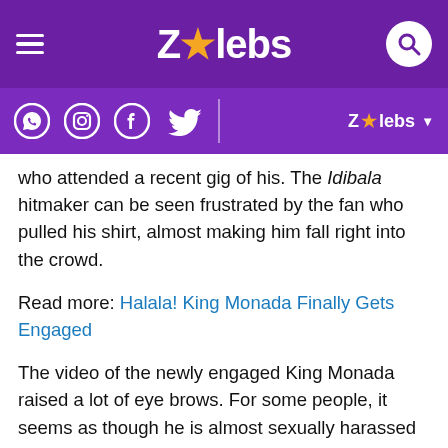ZAlebs
who attended a recent gig of his. The Idibala hitmaker can be seen frustrated by the fan who pulled his shirt, almost making him fall right into the crowd.
Read more: Halala! King Monada Finally Gets Engaged
The video of the newly engaged King Monada raised a lot of eye brows. For some people, it seems as though he is almost sexually harassed as fans tried to grab his private area.
Although what he did might be commendable, looking at the level of entitlement some fans have with their faves, he could have easily mized